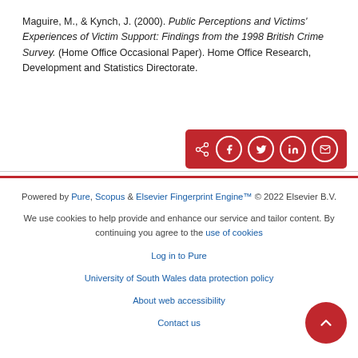Maguire, M., & Kynch, J. (2000). Public Perceptions and Victims' Experiences of Victim Support: Findings from the 1998 British Crime Survey. (Home Office Occasional Paper). Home Office Research, Development and Statistics Directorate.
[Figure (other): Social share bar with icons for share, Facebook, Twitter, LinkedIn, and email on a red background]
Powered by Pure, Scopus & Elsevier Fingerprint Engine™ © 2022 Elsevier B.V. We use cookies to help provide and enhance our service and tailor content. By continuing you agree to the use of cookies. Log in to Pure. University of South Wales data protection policy. About web accessibility. Contact us.